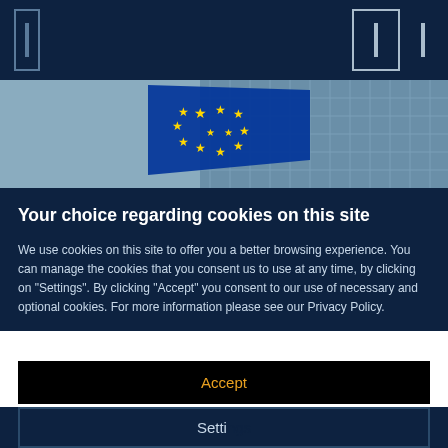[Figure (screenshot): Dark navy website header bar with navigation icons on left and right sides]
[Figure (photo): EU flag with yellow stars on blue background waving in front of a modern glass building facade]
Your choice regarding cookies on this site
We use cookies on this site to offer you a better browsing experience. You can manage the cookies that you consent us to use at any time, by clicking on "Settings". By clicking "Accept" you consent to our use of necessary and optional cookies. For more information please see our Privacy Policy.
Accept
Settings